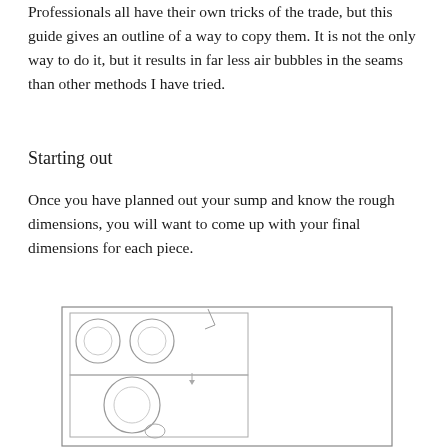Professionals all have their own tricks of the trade, but this guide gives an outline of a way to copy them. It is not the only way to do it, but it results in far less air bubbles in the seams than other methods I have tried.
Starting out
Once you have planned out your sump and know the rough dimensions, you will want to come up with your final dimensions for each piece.
[Figure (schematic): Hand-drawn schematic diagram of a sump/equipment layout showing circular components (likely pipe fittings or holes) arranged in a rectangular enclosure, with additional circular elements below including what appears to be a skimmer or pump fitting.]